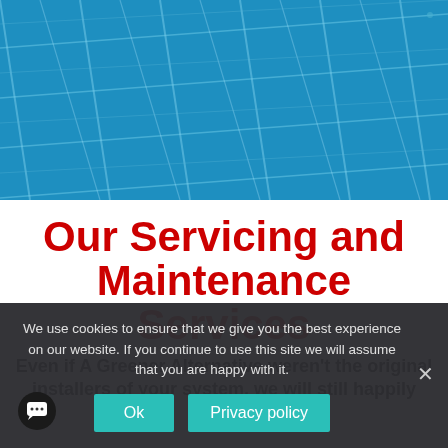[Figure (photo): Blue solar panels photographed from above, showing grid pattern with metallic frames and reflective blue photovoltaic cells]
Our Servicing and Maintenance Services
Even if A Greener Alternative weren't the original installers of your system, we will still happily provide
We use cookies to ensure that we give you the best experience on our website. If you continue to use this site we will assume that you are happy with it.